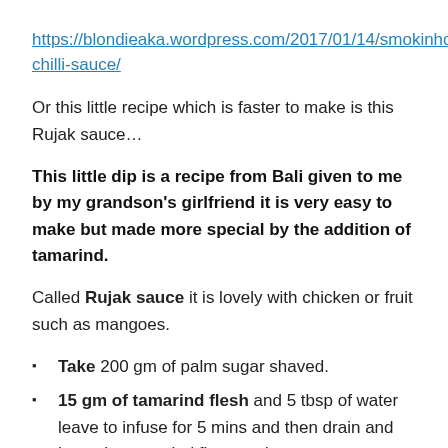https://blondieaka.wordpress.com/2017/01/14/smokinhot-chilli-sauce/
Or this little recipe which is faster to make is this Rujak sauce…
This little dip is a recipe from Bali given to me by my grandson's girlfriend it is very easy to make but made more special by the addition of tamarind.
Called Rujak sauce it is lovely with chicken or fruit such as mangoes.
Take 200 gm of palm sugar shaved.
15 gm of tamarind flesh and 5 tbsp of water leave to infuse for 5 mins and then drain and keep the tamarind flavoured water.